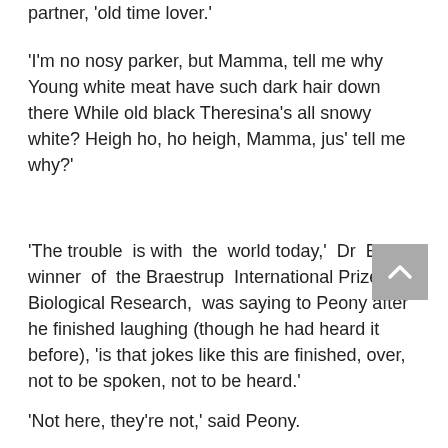partner, 'old time lover.'
'I'm no nosy parker, but Mamma, tell me why Young white meat have such dark hair down there While old black Theresina's all snowy white? Heigh ho, ho heigh, Mamma, jus' tell me why?'
'The trouble is with the world today,' Dr Earle, winner of the Braestrup International Prize for Biological Research, was saying to Peony after he finished laughing (though he had heard it before), 'is that jokes like this are finished, over, not to be spoken, not to be heard.'
'Not here, they're not,' said Peony.